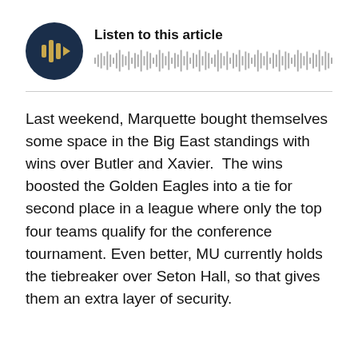[Figure (other): Audio player widget with dark navy circular play button showing a gold play icon and waveform bars, labeled 'Listen to this article' with an audio waveform visualization]
Last weekend, Marquette bought themselves some space in the Big East standings with wins over Butler and Xavier.  The wins boosted the Golden Eagles into a tie for second place in a league where only the top four teams qualify for the conference tournament. Even better, MU currently holds the tiebreaker over Seton Hall, so that gives them an extra layer of security.